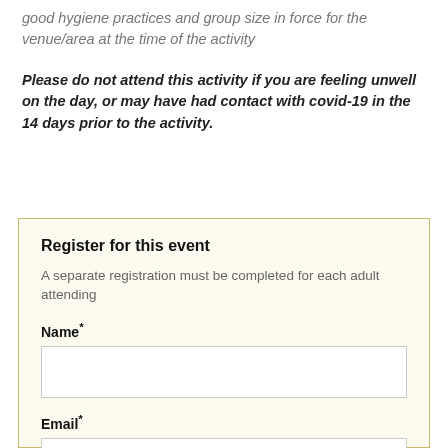good hygiene practices and group size in force for the venue/area at the time of the activity
Please do not attend this activity if you are feeling unwell on the day, or may have had contact with covid-19 in the 14 days prior to the activity.
Register for this event
A separate registration must be completed for each adult attending
Name*
Email*